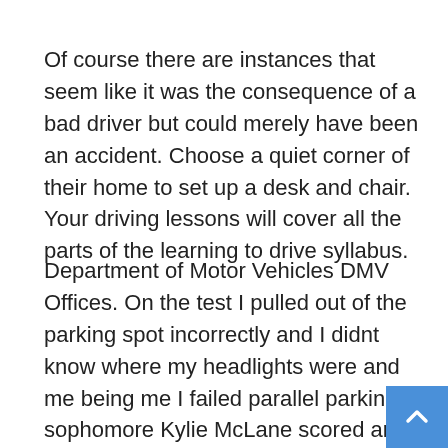Of course there are instances that seem like it was the consequence of a bad driver but could merely have been an accident. Choose a quiet corner of their home to set up a desk and chair. Your driving lessons will cover all the parts of the learning to drive syllabus.
Department of Motor Vehicles DMV Offices. On the test I pulled out of the parking spot incorrectly and I didnt know where my headlights were and me being me I failed parallel parking sophomore Kylie McLane scored an 89 said. Your test examiner will have a driving test report thats like a score sheet of that syllabus and theyll mark you while youre driving.